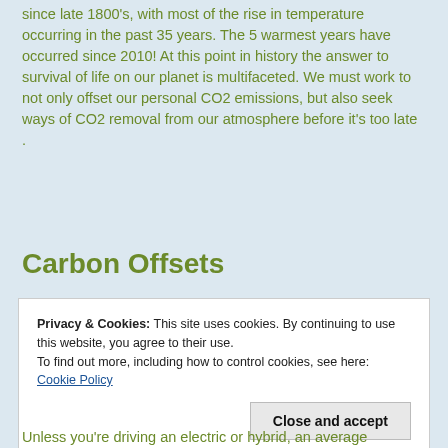Earth's average temperature has risen 1.62 degrees F since late 1800's, with most of the rise in temperature occurring in the past 35 years. The 5 warmest years have occurred since 2010! At this point in history the answer to survival of life on our planet is multifaceted. We must work to not only offset our personal CO2 emissions, but also seek ways of CO2 removal from our atmosphere before it's too late
.
Carbon Offsets
Privacy & Cookies: This site uses cookies. By continuing to use this website, you agree to their use.
To find out more, including how to control cookies, see here: Cookie Policy
Unless you're driving an electric or hybrid, an average